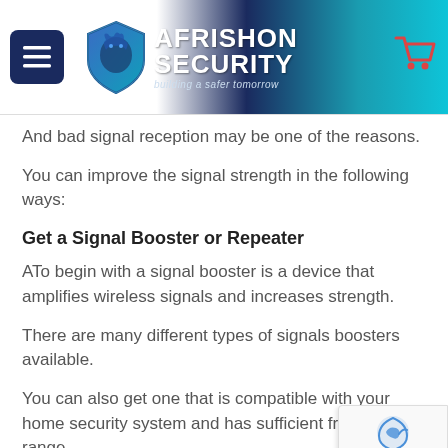[Figure (logo): Afrishon Security website header with hamburger menu button, blue shield dragon logo, AFRISHON SECURITY brand name, and shopping cart icon]
And bad signal reception may be one of the reasons.
You can improve the signal strength in the following ways:
Get a Signal Booster or Repeater
ATo begin with a signal booster is a device that amplifies wireless signals and increases strength.
There are many different types of signals boosters available.
You can also get one that is compatible with your home security system and has sufficient frequency range.
Such devices are relatively easy to install as most a...